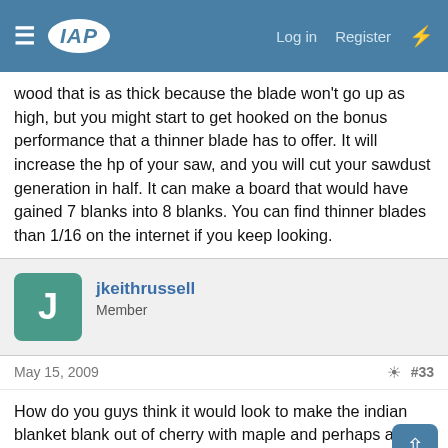IAP — Log in  Register
wood that is as thick because the blade won't go up as high, but you might start to get hooked on the bonus performance that a thinner blade has to offer. It will increase the hp of your saw, and you will cut your sawdust generation in half. It can make a board that would have gained 7 blanks into 8 blanks. You can find thinner blades than 1/16 on the internet if you keep looking.
jkeithrussell
Member
May 15, 2009  #33
How do you guys think it would look to make the indian blanket blank out of cherry with maple and perhaps a little walnut on the accents with the other blank turned from turquoise tru-stone?
I'm trying to work out a couple of issues on the rip sled, but I'm going to try this project this weekend.